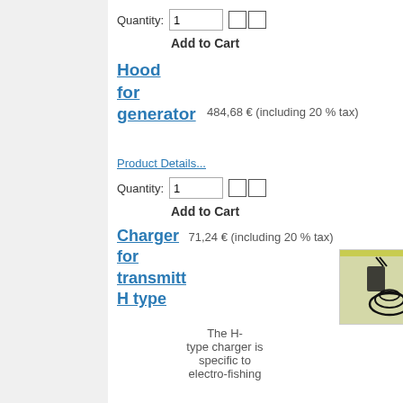Quantity: 1 [buttons]
Add to Cart
Hood for generator   484,68 € (including 20 % tax)
Product Details...
Quantity: 1 [buttons]
Add to Cart
Charger for transmitt H type   71,24 € (including 20 % tax)
[Figure (photo): Photo of an H-type charger with cable coiled on a light background]
The H-type charger is specific to electro-fishing